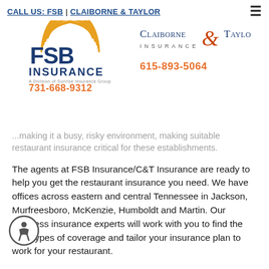CALL US: FSB | CLAIBORNE & TAYLOR
[Figure (logo): FSB Insurance logo with orange sunburst graphic, blue FSB text, INSURANCE text, phone 731-668-9312 in orange]
[Figure (logo): Claiborne & Taylor Insurance logo with ampersand graphic, phone 615-893-5064 in orange]
...making it a busy, risky environment, making suitable restaurant insurance critical for these establishments.
The agents at FSB Insurance/C&T Insurance are ready to help you get the restaurant insurance you need. We have offices across eastern and central Tennessee in Jackson, Murfreesboro, McKenzie, Humboldt and Martin. Our business insurance experts will work with you to find the best types of coverage and tailor your insurance plan to work for your restaurant.